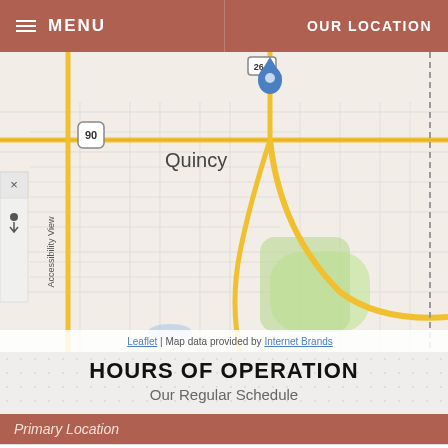MENU | OUR LOCATION
[Figure (map): Interactive street map showing Quincy area with route 90 markers and Santa Clara label. Blue location pin visible at top center. Map attribution: Leaflet | Map data provided by Internet Brands.]
HOURS OF OPERATION
Our Regular Schedule
Primary Location
Monday: 8:30 am-5:00 pm